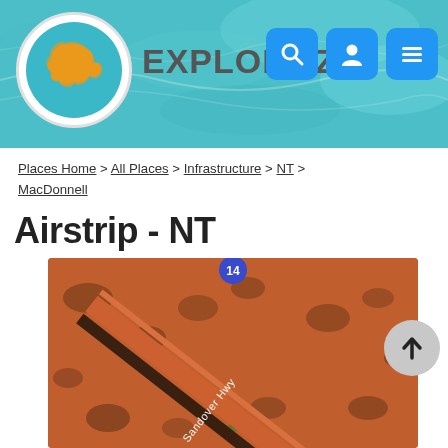EXPLOROZ
Places Home > All Places > Infrastructure > NT > MacDonnell
Airstrip - NT
[Figure (map): Aerial satellite map showing Utopia Airport along Sandover Hwy in NT Australia, with route 14 markers visible]